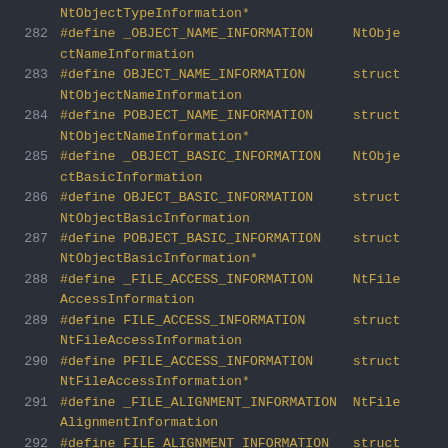NtObjectTypeInformation*
282    #define _OBJECT_NAME_INFORMATION    NtObjectNameInformation
283    #define OBJECT_NAME_INFORMATION    struct NtObjectNameInformation
284    #define POBJECT_NAME_INFORMATION    struct NtObjectNameInformation*
285    #define _OBJECT_BASIC_INFORMATION    NtObjectBasicInformation
286    #define OBJECT_BASIC_INFORMATION    struct NtObjectBasicInformation
287    #define POBJECT_BASIC_INFORMATION    struct NtObjectBasicInformation*
288    #define _FILE_ACCESS_INFORMATION    NtFileAccessInformation
289    #define FILE_ACCESS_INFORMATION    struct NtFileAccessInformation
290    #define PFILE_ACCESS_INFORMATION    struct NtFileAccessInformation*
291    #define _FILE_ALIGNMENT_INFORMATION    NtFileAlignmentInformation
292    #define FILE_ALIGNMENT_INFORMATION    struct